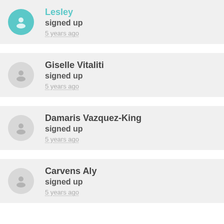Lesley signed up 5 years ago
Giselle Vitaliti signed up 5 years ago
Damaris Vazquez-King signed up 5 years ago
Carvens Aly signed up 5 years ago